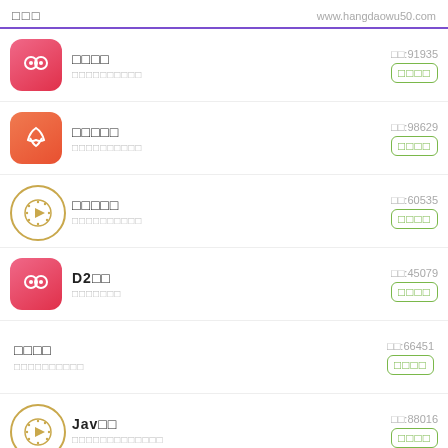□□□   www.hangdaowu50.com
□□□□  □□:91935  □□□□□□□□□□  □□□□
□□□□□  □□:98629  □□□□□□□□□□  □□□□
□□□□□  □□:60535  □□□□□□□□□□  □□□□
D2□□  □□:45079  □□□□□□□  □□□□
□□□□  □□:66451  □□□□□□□□□□  □□□□
Jav□□  □□:88016  □□□□□□□□□□□□□  □□□□